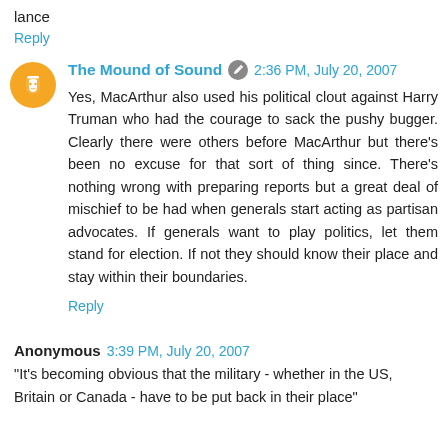lance
Reply
The Mound of Sound  2:36 PM, July 20, 2007
Yes, MacArthur also used his political clout against Harry Truman who had the courage to sack the pushy bugger. Clearly there were others before MacArthur but there's been no excuse for that sort of thing since. There's nothing wrong with preparing reports but a great deal of mischief to be had when generals start acting as partisan advocates. If generals want to play politics, let them stand for election. If not they should know their place and stay within their boundaries.
Reply
Anonymous  3:39 PM, July 20, 2007
"It's becoming obvious that the military - whether in the US, Britain or Canada - have to be put back in their place"